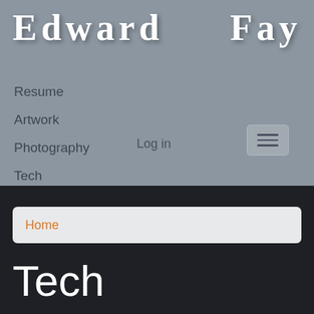Edward Fay
Resume
Artwork
Photography
Tech
Log in
Home
Tech